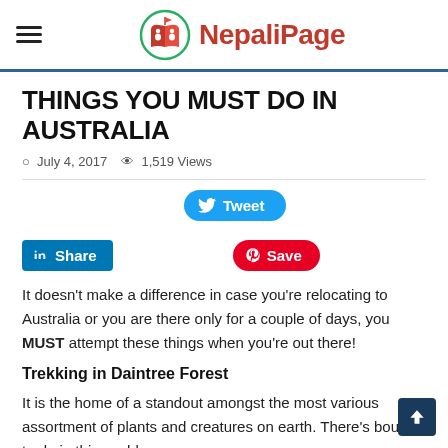NepaliPage
THINGS YOU MUST DO IN AUSTRALIA
July 4, 2017   1,519 Views
[Figure (infographic): Social sharing buttons: Tweet (Twitter/blue), Share (LinkedIn/blue), Save (Pinterest/red)]
It doesn't make a difference in case you're relocating to Australia or you are there only for a couple of days, you MUST attempt these things when you're out there!
Trekking in Daintree Forest
It is the home of a standout amongst the most various assortment of plants and creatures on earth. There's bounty to do in this world